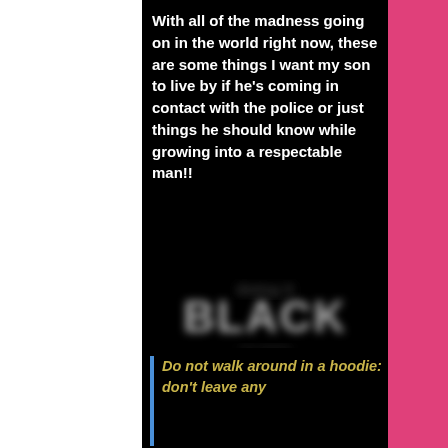With all of the madness going on in the world right now, these are some things I want my son to live by if he's coming in contact with the police or just things he should know while growing into a respectable man!!
[Figure (logo): Blurred logo with the word BLACK visible in the center on a dark background]
Do not walk around in a hoodie: don't leave any